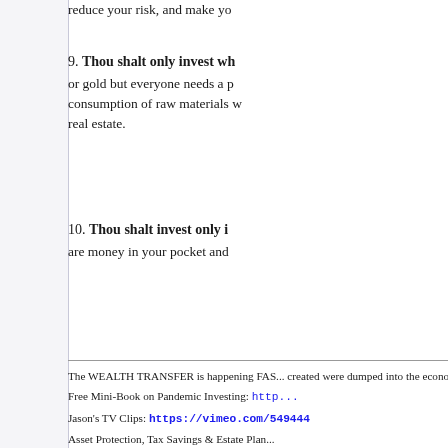reduce your risk, and make yo...
9. Thou shalt only invest wh... or gold but everyone needs a p... consumption of raw materials w... real estate.
10. Thou shalt invest only i... are money in your pocket and...
The WEALTH TRANSFER is happening FAS... created were dumped into the economy last... on the right side of this massive wealth trans...
Free Mini-Book on Pandemic Investing: http...
Jason's TV Clips: https://vimeo.com/549444...
Asset Protection, Tax Savings & Estate Plan...
What do Jason's clients say? http://JasonHa...
Easily get up to $250,000 in funding for real...
Call our Investment Counselors at: 1-800-H...